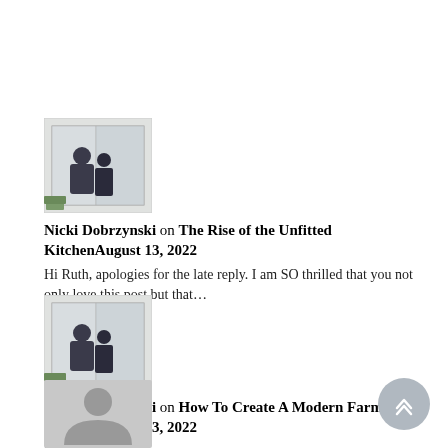[Figure (photo): Small thumbnail photo of two people standing in a doorway]
Nicki Dobrzynski on The Rise of the Unfitted KitchenAugust 13, 2022
Hi Ruth, apologies for the late reply. I am SO thrilled that you not only love this post but that...
[Figure (photo): Small thumbnail photo of two people standing in a doorway]
Nicki Dobrzynski on How To Create A Modern Farmhouse KitchenAugust 13, 2022
Oh I'm so glad! 😇
[Figure (photo): Grey placeholder avatar silhouette icon]